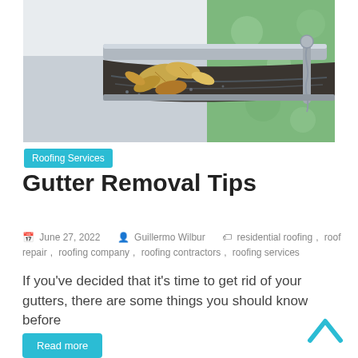[Figure (photo): Close-up photo of a rain gutter filled with dead leaves and debris, with green grass visible in the background]
Roofing Services
Gutter Removal Tips
June 27, 2022   Guillermo Wilbur   residential roofing, roof repair, roofing company, roofing contractors, roofing services
If you’ve decided that it’s time to get rid of your gutters, there are some things you should know before
Read more